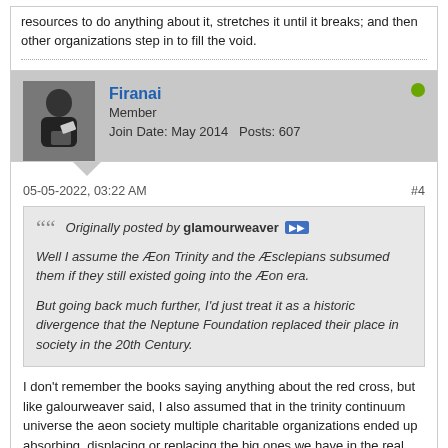resources to do anything about it, stretches it until it breaks; and then other organizations step in to fill the void.
Firanai
Member
Join Date: May 2014   Posts: 607
05-05-2022, 03:22 AM
#4
Originally posted by glamourweaver
Well I assume the Æon Trinity and the Æsclepians subsumed them if they still existed going into the Æon era.
But going back much further, I'd just treat it as a historic divergence that the Neptune Foundation replaced their place in society in the 20th Century.
I don't remember the books saying anything about the red cross, but like galourweaver said, I also assumed that in the trinity continuum universe the aeon society multiple charitable organizations ended up absorbing, displacing or replacing the big ones we have in the real